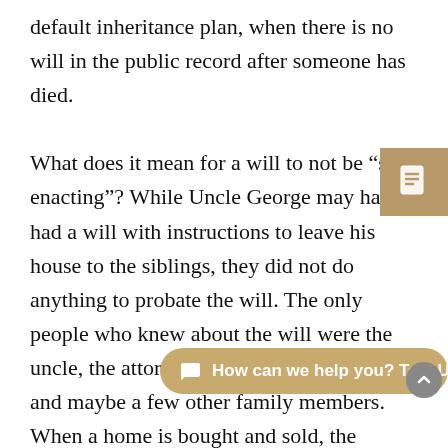default inheritance plan, when there is no will in the public record after someone has died.

What does it mean for a will to not be “self-enacting”? While Uncle George may have had a will with instructions to leave his house to the siblings, they did not do anything to probate the will. The only people who knew about the will were the uncle, the attorney who prepared the will and maybe a few other family members. When a home is bought and sold, the transaction must be recorded in the county’s public records to inform the public of the change of ownership.

Not taking action on a will is a disservice to the